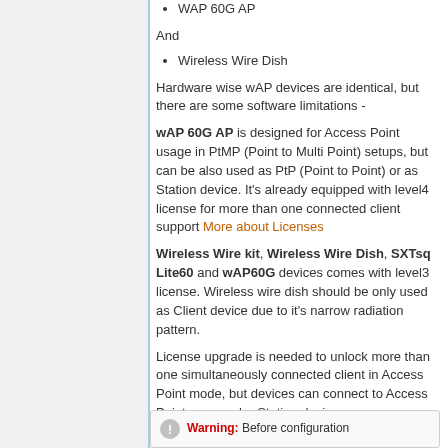WAP 60G AP
And
Wireless Wire Dish
Hardware wise wAP devices are identical, but there are some software limitations -
wAP 60G AP is designed for Access Point usage in PtMP (Point to Multi Point) setups, but can be also used as PtP (Point to Point) or as Station device. It's already equipped with level4 license for more than one connected client support More about Licenses
Wireless Wire kit, Wireless Wire Dish, SXTsq Lite60 and wAP60G devices comes with level3 license. Wireless wire dish should be only used as Client device due to it's narrow radiation pattern.
License upgrade is needed to unlock more than one simultaneously connected client in Access Point mode, but devices can connect to Access Points as regular Station devices.
Warning: Before configuration